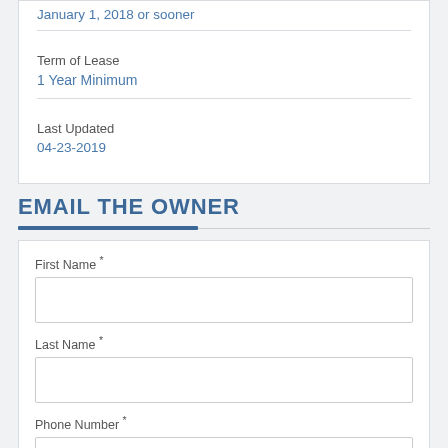January 1, 2018 or sooner
Term of Lease
1 Year Minimum
Last Updated
04-23-2019
EMAIL THE OWNER
First Name *
Last Name *
Phone Number *